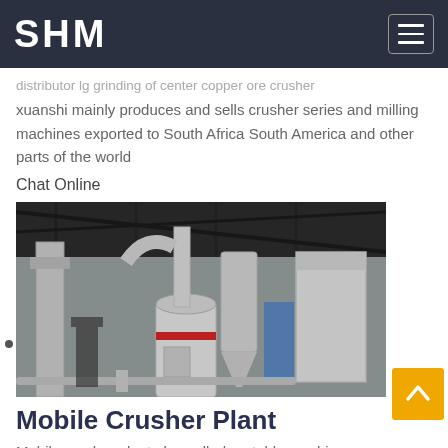SHM
distributor lg grinding of center copper ore crusher xuanshi mainly produces and sells crusher series and milling machines exported to South Africa South America and other parts of the world
Chat Online
[Figure (photo): Industrial milling/grinding machine plant under a large covered outdoor facility. White cylindrical grinding mills and large dust collector/cyclone separator equipment visible, with structural steel roof framework above.]
Mobile Crusher Plant
Mobile crusher plant also called portable crushing